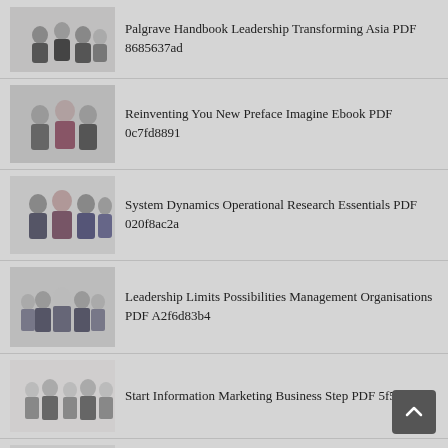Palgrave Handbook Leadership Transforming Asia PDF 8685637ad
Reinventing You New Preface Imagine Ebook PDF 0c7fd8891
System Dynamics Operational Research Essentials PDF 020f8ac2a
Leadership Limits Possibilities Management Organisations PDF A2f6d83b4
Start Information Marketing Business Step PDF 5f514055c
Biodata Routledge Revivals Biographical Performance PDF Fdc6e38bb
No Ego Leaders Workplace Entitlement PDF 4121ae954